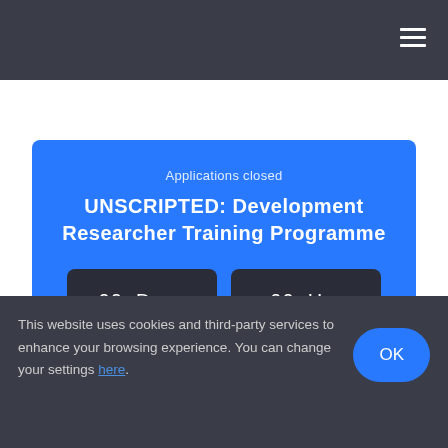≡
Applications closed
UNSCRIPTED: Development Researcher Training Programme
00 Days  00 Hrs  00 Min  00 Sec
This website uses cookies and third-party services to enhance your browsing experience. You can change your settings here.